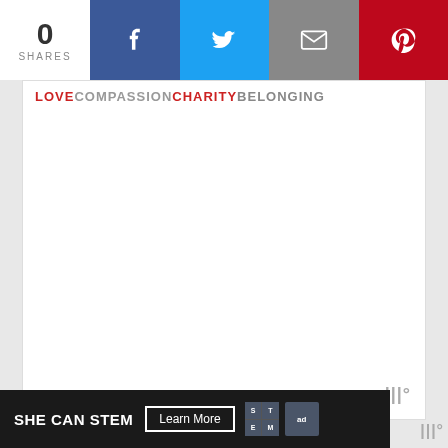0 SHARES | Facebook | Twitter | Email | Pinterest
[Figure (screenshot): White content block with LOVE COMPASSION CHARITY BELONGING banner text at top and a wordmark at bottom right]
Comments
1. Angie @ amblentwares says
August 28, 2016 at 8:24 am
Love this grouping! I don't commit to any one style
[Figure (screenshot): SHE CAN STEM advertisement banner with Learn More button, STEM logo, and Ad Council logo]